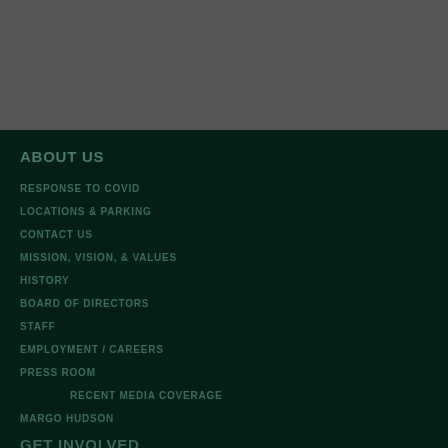[Figure (other): Dark gray header bar at top of page]
ABOUT US
RESPONSE TO COVID
LOCATIONS & PARKING
CONTACT US
MISSION, VISION, & VALUES
HISTORY
BOARD OF DIRECTORS
STAFF
EMPLOYMENT / CAREERS
PRESS ROOM
RECENT MEDIA COVERAGE
MARGO HUDSON
GET INVOLVED